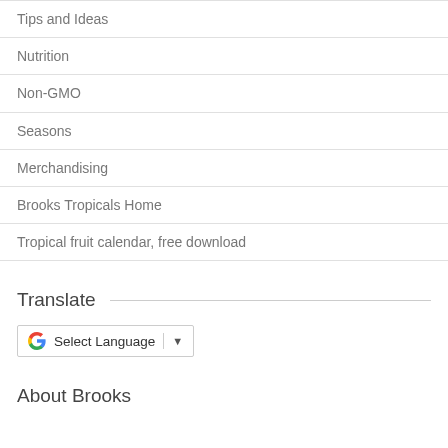Tips and Ideas
Nutrition
Non-GMO
Seasons
Merchandising
Brooks Tropicals Home
Tropical fruit calendar, free download
Translate
[Figure (screenshot): Google Translate widget with 'Select Language' dropdown]
About Brooks